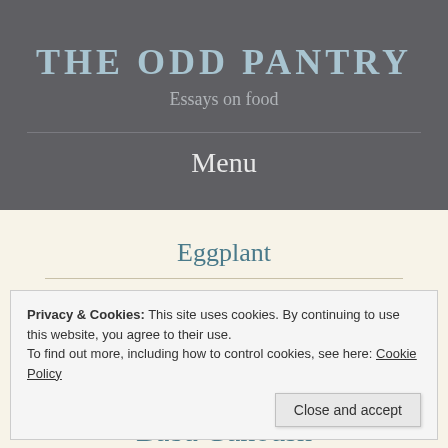THE ODD PANTRY
Essays on food
Menu
Eggplant
Privacy & Cookies: This site uses cookies. By continuing to use this website, you agree to their use.
To find out more, including how to control cookies, see here: Cookie Policy
Close and accept
Baba Ganoush